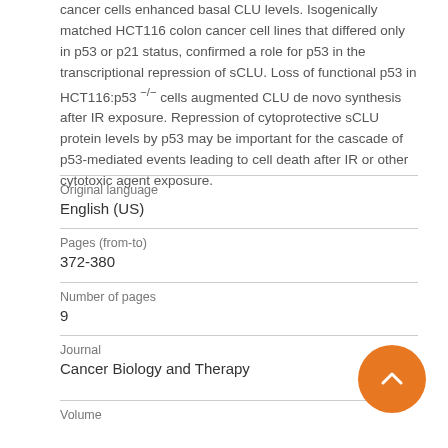cancer cells enhanced basal CLU levels. Isogenically matched HCT116 colon cancer cell lines that differed only in p53 or p21 status, confirmed a role for p53 in the transcriptional repression of sCLU. Loss of functional p53 in HCT116:p53 -/- cells augmented CLU de novo synthesis after IR exposure. Repression of cytoprotective sCLU protein levels by p53 may be important for the cascade of p53-mediated events leading to cell death after IR or other cytotoxic agent exposure.
Original language
English (US)
Pages (from-to)
372-380
Number of pages
9
Journal
Cancer Biology and Therapy
Volume